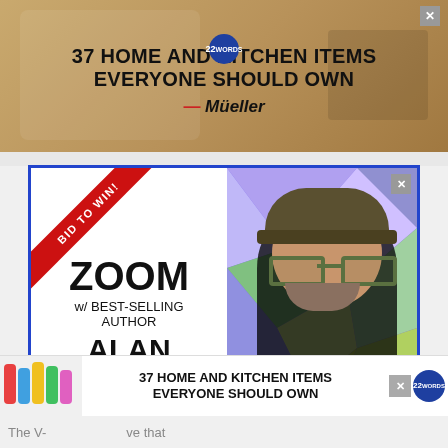[Figure (screenshot): Top advertisement banner: '37 HOME AND KITCHEN ITEMS EVERYONE SHOULD OWN' with Mueller branding and product image of knife sharpener]
[Figure (screenshot): Middle advertisement: 'BID TO WIN! ZOOM w/ BEST-SELLING AUTHOR ALAN GRATZ' with photo of Alan Gratz wearing a hat and glasses, colorful geometric background. Text: 'Meet him with your school, school district, or writer's group! Proceeds benefit TABC Book Drop (Writer's Cubed, a 501c3)']
[Figure (screenshot): Bottom bar advertisement: '37 HOME AND KITCHEN ITEMS EVERYONE SHOULD OWN' with colorful tube containers image]
The V-         ve that